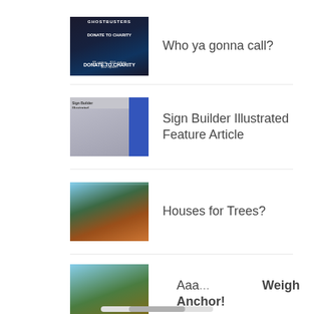Who ya gonna call?
Sign Builder Illustrated Feature Article
Houses for Trees?
Aaa... Weigh Anchor!